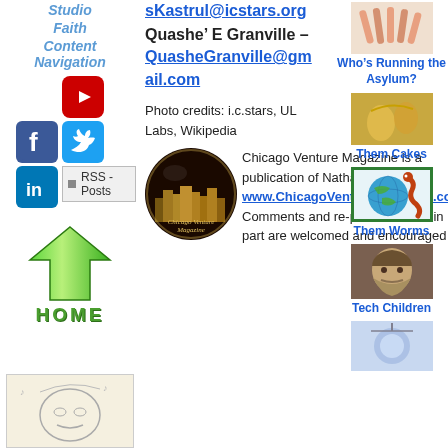Studio
Faith
Content Navigation
[Figure (logo): YouTube logo icon (red with white play button)]
[Figure (logo): Facebook logo icon (blue with white f)]
[Figure (logo): Twitter logo icon (blue with white bird)]
[Figure (logo): LinkedIn logo icon (blue with white in)]
RSS - Posts
[Figure (illustration): Green upward-pointing arrow (home navigation)]
HOME
[Figure (illustration): Sketch/cartoon of a person with glasses]
sKastrul@icstars.org
Quashe’ E Granville – QuasheGranville@gmail.com
Photo credits: i.c.stars, UL Labs, Wikipedia
[Figure (logo): Chicago Venture Magazine circular logo with city skyline]
Chicago Venture Magazine is a publication of Nathaniel Press www.ChicagoVentureMagazine.com Comments and re-posts in full or in part are welcomed and encouraged if
[Figure (photo): Small thumbnail image at top right]
Who’s Running the Asylum?
[Figure (photo): Golden decorative instruments/objects image]
Them Cakes
[Figure (illustration): Globe with snake/worm illustration, green border]
Them Worms
[Figure (photo): Portrait of bearded man (Mark Twain style)]
Tech Children
[Figure (photo): Blue/white ornament or tech object image at bottom right]